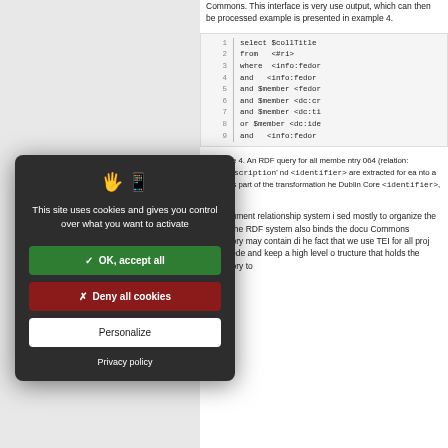Commons. This interface is very use output, which can then be processed example is presented in example 4.
[Figure (screenshot): Code block showing lines 1-9 of an RDF/SPARQL query with line numbers and monospace font. Lines include: select $collTitle, from <#ri>, where <info:fedor, and <info:fedor, and $member <fedor, and $member <dc:cr, and $member <dc:ti, or $member <dc:ide, and <info:fedor]
Example 4. An RDF query for all members. Entry 064 (relation: 'HasDescription' and <identifier> are extracted for each into a listing as part of the transformation the Dublin Core <identifier>, making
The document relationship system is used mostly to organize the document. The RDF system also binds the document. Commons repository may contain different. The fact that we use TEI for all projects. Reuse code and keep a high level of structure that holds the repository together.
This site uses cookies and gives you control over what you want to activate
✓  OK, accept all
✗  Deny all cookies
Personalize
Privacy policy